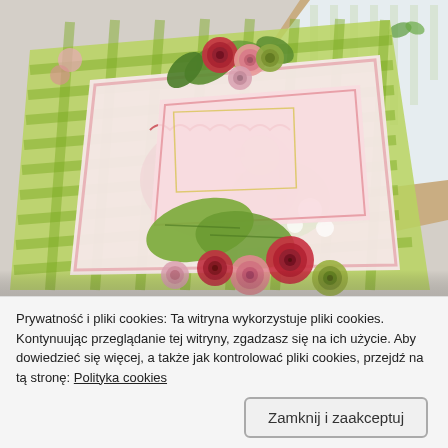[Figure (photo): Close-up photo of handmade greeting cards with paper rose decorations in pink, red, and green, placed on a green gingham patterned background with floral scrapbook paper.]
Prywatność i pliki cookies: Ta witryna wykorzystuje pliki cookies. Kontynuując przeglądanie tej witryny, zgadzasz się na ich użycie. Aby dowiedzieć się więcej, a także jak kontrolować pliki cookies, przejdź na tą stronę: Polityka cookies
Zamknij i zaakceptuj